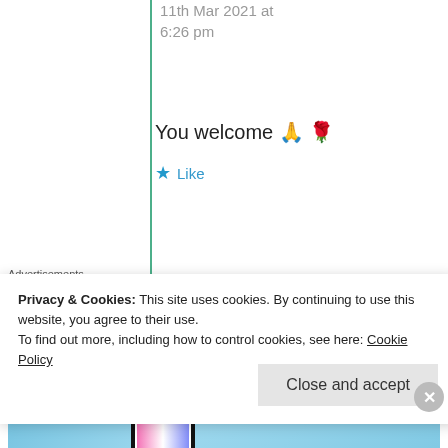11th Mar 2021 at 6:26 pm
You welcome 🙏 🌹
★ Like
Advertisements
[Figure (infographic): Advertisement banner: 'WORKS ON THE APP TOO!' with pricing $39.99 a year or $4.99 a month + FREE SHIPPING, with a large stylized 't' logo and sparkles on a blue sky background]
Privacy & Cookies: This site uses cookies. By continuing to use this website, you agree to their use.
To find out more, including how to control cookies, see here: Cookie Policy
Close and accept